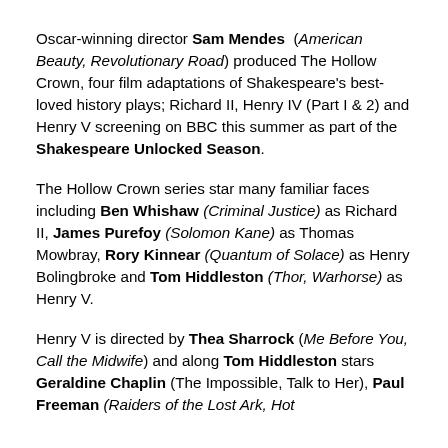Oscar-winning director Sam Mendes (American Beauty, Revolutionary Road) produced The Hollow Crown, four film adaptations of Shakespeare's best-loved history plays; Richard II, Henry IV (Part I & 2) and Henry V screening on BBC this summer as part of the Shakespeare Unlocked Season.
The Hollow Crown series star many familiar faces including Ben Whishaw (Criminal Justice) as Richard II, James Purefoy (Solomon Kane) as Thomas Mowbray, Rory Kinnear (Quantum of Solace) as Henry Bolingbroke and Tom Hiddleston (Thor, Warhorse) as Henry V.
Henry V is directed by Thea Sharrock (Me Before You, Call the Midwife) and along Tom Hiddleston stars Geraldine Chaplin (The Impossible, Talk to Her), Paul Freeman (Raiders of the Lost Ark, Hot...